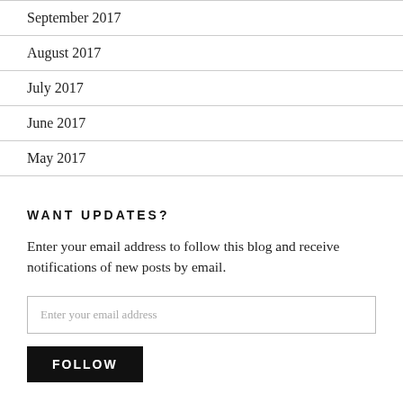September 2017
August 2017
July 2017
June 2017
May 2017
WANT UPDATES?
Enter your email address to follow this blog and receive notifications of new posts by email.
Enter your email address
Follow